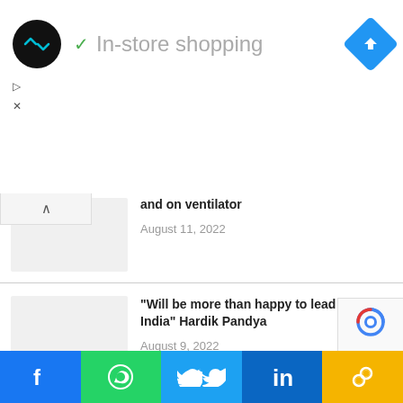[Figure (advertisement): Ad banner with circular logo, checkmark and 'In-store shopping' text, blue navigation diamond icon]
▷
✕
Comedian actor Raja Chaudhary is 'critical' and on ventilator
August 11, 2022
"Will be more than happy to lead team India" Hardik Pandya
August 9, 2022
First Launch Of New ISRO Rocket reports data loss
August 7, 2022
[Figure (logo): reCAPTCHA badge]
[Figure (infographic): Social sharing footer bar: Facebook, WhatsApp, Twitter, LinkedIn, Link icons]